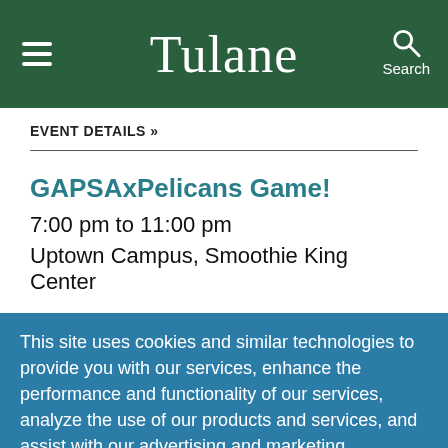Tulane
EVENT DETAILS »
GAPSAxPelicans Game!
7:00 pm to 11:00 pm
Uptown Campus, Smoothie King Center
This site uses cookies and similar technologies to provide you with our services, enhance the performance and functionality of our services, analyze the use of our products and services, and assist with our advertising and marketing efforts.  Privacy Notice   GDPR Privacy Policy
ACCEPT   Decline